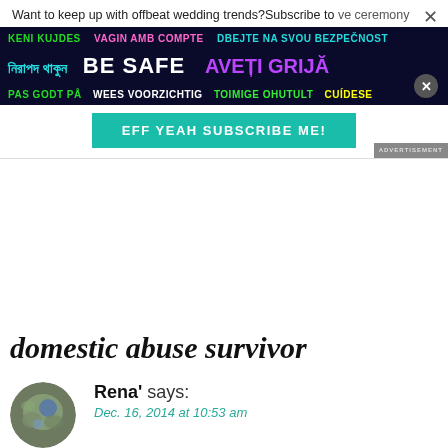Want to keep up with offbeat wedding trends? Subscribe to ... ve ceremony
[Figure (screenshot): Multilingual 'BE SAFE' public service advertisement banner with colorful text in multiple languages on dark background, with 'ADVERTISEMENT' label]
EFF YEAH SUBSCRIBE ME!
domestic abuse survivor
Rena' says:
Dec. 16, 2014 at 10:53 am
We are approaching year 6 in marriage. While planning our wedding, I knew more of what I didn't want than what I did. Really, the wedding is a blip on my timeline, and my advice is directed more towards marriage and overall wellbeing. I highly recommend therapy, counseling, and/or a support group. I have several friends who attend Al-Anon as an alternative to therapy for those seeking non-therapist...